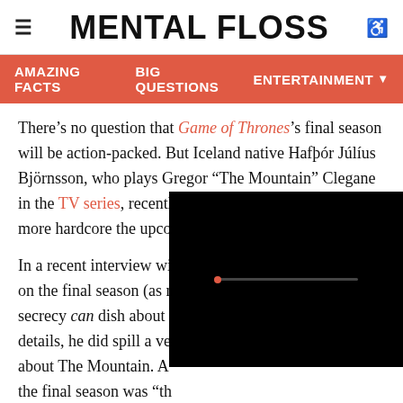MENTAL FLOSS
AMAZING FACTS  BIG QUESTIONS  ENTERTAINMENT
There’s no question that Game of Thrones’s final season will be action-packed. But Iceland native Hafþór Július Björnsson, who plays Gregor “The Mountain” Clegane in the TV series, recently confirmed just how much more hardcore the upcoming episodes will be.
In a recent interview with Mashable, Björnsson dished on the final season (as much as an actor sworn to secrecy can dish about a show). Though [details obscured], he did spill a ve[ry interesting detail] about The Mountain. A[nd he confirmed that] the final season was “th[e most epic Game] Of Thrones.”
[Figure (other): Black video player overlay with a red-dotted progress bar in the center]
Filming got so complic[ated and even more so that]...